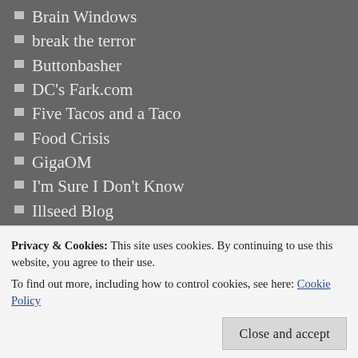Brain Windows
break the terror
Buttonbasher
DC's Fark.com
Five Tacos and a Taco
Food Crisis
GigaOM
I'm Sure I Don't Know
Illseed Blog
JONATHAN TURLEY
kottke
My FB Blog
Politics or Poppycock
Skewz
Strange Maps
SWPL
The Maas Family Blog
Privacy & Cookies: This site uses cookies. By continuing to use this website, you agree to their use. To find out more, including how to control cookies, see here: Cookie Policy